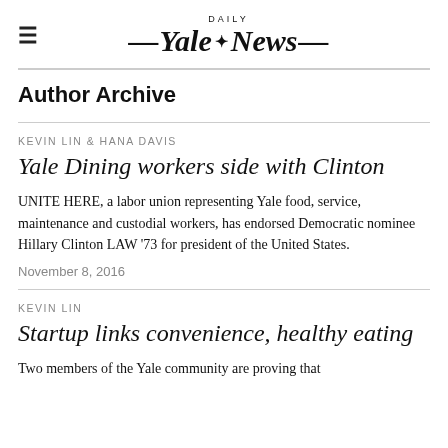Yale Daily News
Author Archive
KEVIN LIN & HANA DAVIS
Yale Dining workers side with Clinton
UNITE HERE, a labor union representing Yale food, service, maintenance and custodial workers, has endorsed Democratic nominee Hillary Clinton LAW '73 for president of the United States.
November 8, 2016
KEVIN LIN
Startup links convenience, healthy eating
Two members of the Yale community are proving that